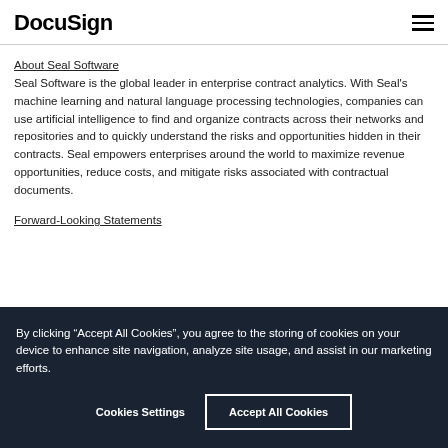DocuSign
About Seal Software
Seal Software is the global leader in enterprise contract analytics. With Seal's machine learning and natural language processing technologies, companies can use artificial intelligence to find and organize contracts across their networks and repositories and to quickly understand the risks and opportunities hidden in their contracts. Seal empowers enterprises around the world to maximize revenue opportunities, reduce costs, and mitigate risks associated with contractual documents.
Forward-Looking Statements
By clicking “Accept All Cookies”, you agree to the storing of cookies on your device to enhance site navigation, analyze site usage, and assist in our marketing efforts.